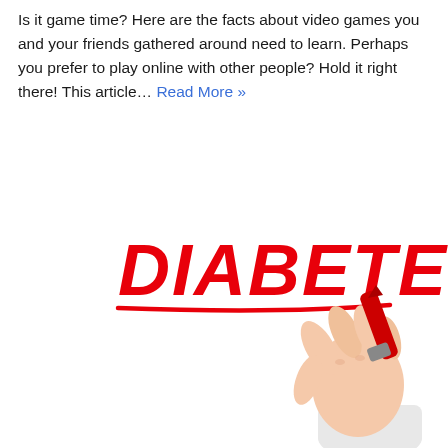Is it game time? Here are the facts about video games you and your friends gathered around need to learn. Perhaps you prefer to play online with other people? Hold it right there! This article… Read More »
[Figure (photo): A hand holding a red marker, having written the word DIABETES in large red bold letters with a red underline beneath it, on a white background.]